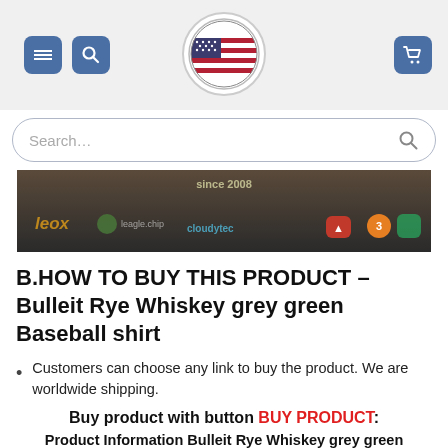Navigation header with menu, search, logo, and cart icons
[Figure (screenshot): Search bar with placeholder text 'Search...' and a magnifying glass icon on the right]
[Figure (photo): Dark banner image showing a wooden table with various app/brand logos including leox, leagle chip, cloudytec, and others with text 'since 2008']
B.HOW TO BUY THIS PRODUCT – Bulleit Rye Whiskey grey green Baseball shirt
Customers can choose any link to buy the product. We are worldwide shipping.
Buy product with button BUY PRODUCT:
Product Information Bulleit Rye Whiskey grey green Baseball shirt and size chart: